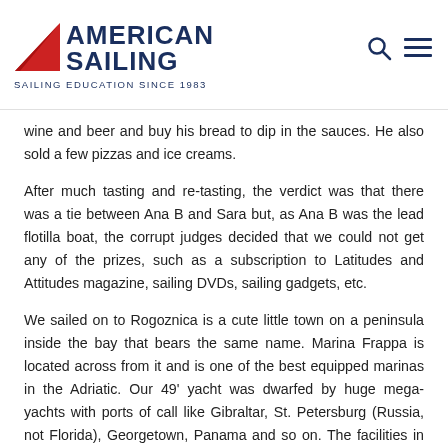AMERICAN SAILING — SAILING EDUCATION SINCE 1983
wine and beer and buy his bread to dip in the sauces. He also sold a few pizzas and ice creams.
After much tasting and re-tasting, the verdict was that there was a tie between Ana B and Sara but, as Ana B was the lead flotilla boat, the corrupt judges decided that we could not get any of the prizes, such as a subscription to Latitudes and Attitudes magazine, sailing DVDs, sailing gadgets, etc.
We sailed on to Rogoznica is a cute little town on a peninsula inside the bay that bears the same name. Marina Frappa is located across from it and is one of the best equipped marinas in the Adriatic. Our 49' yacht was dwarfed by huge mega-yachts with ports of call like Gibraltar, St. Petersburg (Russia, not Florida), Georgetown, Panama and so on. The facilities in this